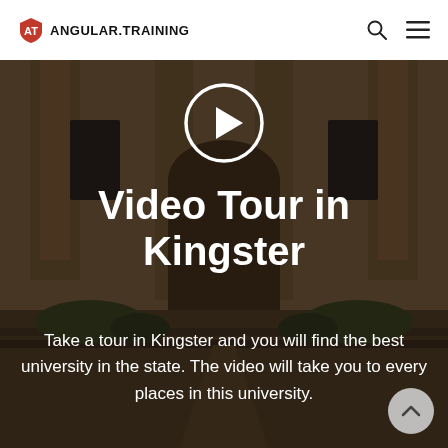AT ANGULAR.TRAINING
[Figure (screenshot): Hero section of Angular.Training website showing a university building background with a play button circle, large white title 'Video Tour in Kingster', and descriptive text below]
Video Tour in Kingster
Take a tour in Kingster and you will find the best university in the state. The video will take you to every places in this university.